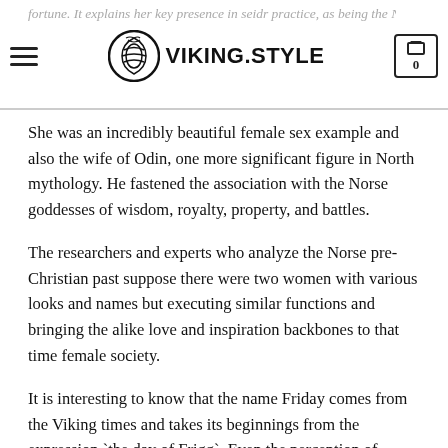VIKING.STYLE — fortune. It explains her key presence in seidr practice, as being the Norse goddess of life.
She was an incredibly beautiful female sex example and also the wife of Odin, one more significant figure in North mythology. He fastened the association with the Norse goddesses of wisdom, royalty, property, and battles.
The researchers and experts who analyze the Norse pre-Christian past suppose there were two women with various looks and names but executing similar functions and bringing the alike love and inspiration backbones to that time female society.
It is interesting to know that the name Friday comes from the Viking times and takes its beginnings from the expression `the day of Frigg`. Even the perception of Christianism as one of the main beliefs across the globe, the symbols of the past